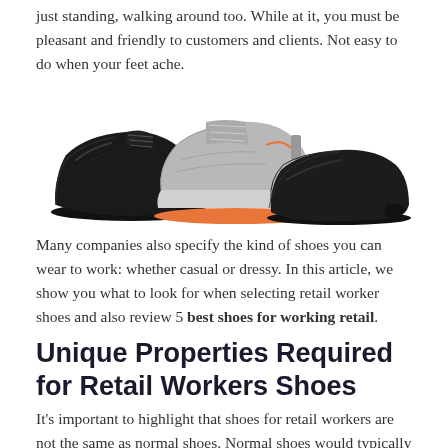just standing, walking around too. While at it, you must be pleasant and friendly to customers and clients. Not easy to do when your feet ache.
[Figure (photo): Three shoes side by side: a black leather brogue oxford on the left, a grey and orange running sneaker in the center, and a black leather ballet flat on the right.]
Many companies also specify the kind of shoes you can wear to work: whether casual or dressy. In this article, we show you what to look for when selecting retail worker shoes and also review 5 best shoes for working retail.
Unique Properties Required for Retail Workers Shoes
It’s important to highlight that shoes for retail workers are not the same as normal shoes. Normal shoes would typically be designed for style and some level of basic